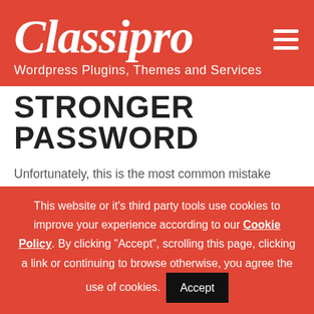Classipro
Wordpress Plugins, Themes and Services
STRONGER PASSWORD
Unfortunately, this is the most common mistake people make. Despite constant imploring, they just do not make passwords with sufficient strength. It means that you are always vulnerable to attacks even if you have changed your login from admin. There are many guides available
This website or it's third party tools use cookies to improve your experience according to our Cookie Policy. By clicking "Accept", scrolling this page, clicking a link or continuing to browse otherwise, you agree the use of cookies.